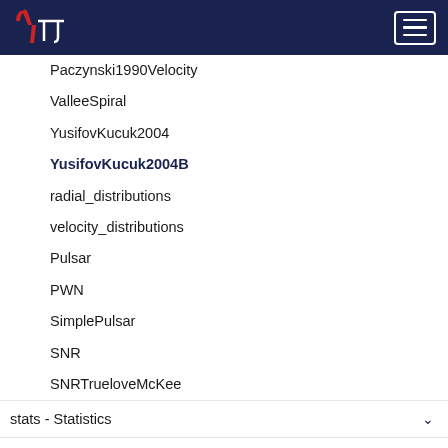YπI (logo) navigation
Paczynski1990Velocity
ValleeSpiral
YusifovKucuk2004
YusifovKucuk2004B
radial_distributions
velocity_distributions
Pulsar
PWN
SimplePulsar
SNR
SNRTrueloveMcKee
stats - Statistics
scripts - Command line tools
visualization - Plotting features